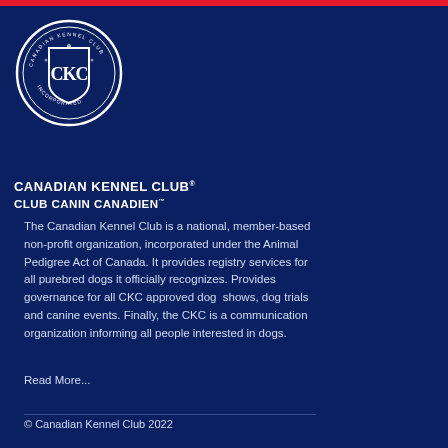[Figure (logo): Canadian Kennel Club circular crest logo in white on dark blue background]
CANADIAN KENNEL CLUB® CLUB CANIN CANADIEN™
The Canadian Kennel Club is a national, member-based non-profit organization, incorporated under the Animal Pedigree Act of Canada. It provides registry services for all purebred dogs it officially recognizes. Provides governance for all CKC approved dog shows, dog trials and canine events. Finally, the CKC is a communication organization informing all people interested in dogs.
Read More...
© Canadian Kennel Club 2022